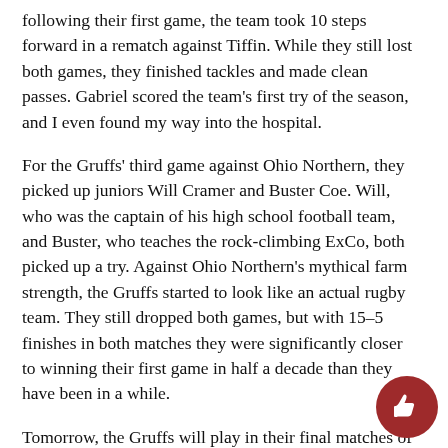following their first game, the team took 10 steps forward in a rematch against Tiffin. While they still lost both games, they finished tackles and made clean passes. Gabriel scored the team's first try of the season, and I even found my way into the hospital.
For the Gruffs' third game against Ohio Northern, they picked up juniors Will Cramer and Buster Coe. Will, who was the captain of his high school football team, and Buster, who teaches the rock-climbing ExCo, both picked up a try. Against Ohio Northern's mythical farm strength, the Gruffs started to look like an actual rugby team. They still dropped both games, but with 15–5 finishes in both matches they were significantly closer to winning their first game in half a decade than they have been in a while.
Tomorrow, the Gruffs will play in their final matches of the season as they travel to Kenyon College to participate in a tournament with Kenyon, Tiffin, and Taylor University. They're still coachless. Outside of hanging out at the house, organizing team events — from practice to bussing across Ohio — takes every ounce of patience Paul, Gabr... and Aleman have. Even with all of that working against them, the... still just one try away from that elusive first win.
[Figure (illustration): A dark red thumbs-up icon inside a circular badge, positioned in the bottom-right corner of the page.]